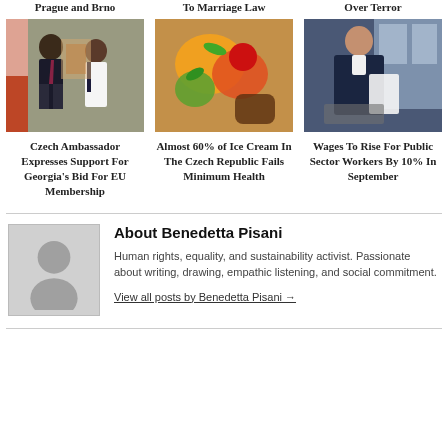Prague and Brno
To Marriage Law
Over Terror
[Figure (photo): Two people standing together in a formal setting, man in suit and woman in white jacket]
[Figure (photo): Hands holding colorful tropical fruit including mango and cherry]
[Figure (photo): Professional woman in dark suit holding papers or laptop at desk]
Czech Ambassador Expresses Support For Georgia's Bid For EU Membership
Almost 60% of Ice Cream In The Czech Republic Fails Minimum Health
Wages To Rise For Public Sector Workers By 10% In September
About Benedetta Pisani
[Figure (photo): Author avatar placeholder - silhouette of a person on grey background]
Human rights, equality, and sustainability activist. Passionate about writing, drawing, empathic listening, and social commitment.
View all posts by Benedetta Pisani →